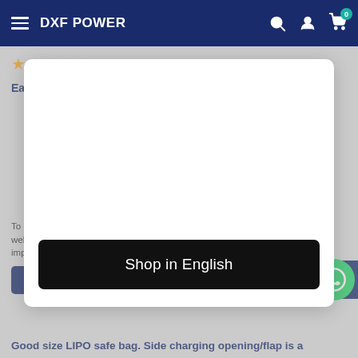DXF POWER
★★★★☆
Easy transport and safety charge and store. I
[Figure (screenshot): Modal dialog with white background and a black 'Shop in English' button]
To provide a better shopping experience, our website uses cookies. Continuing use of the site implies consent.
Accept
Chat with us
Good size LIPO safe bag. Side charging opening/flap is a